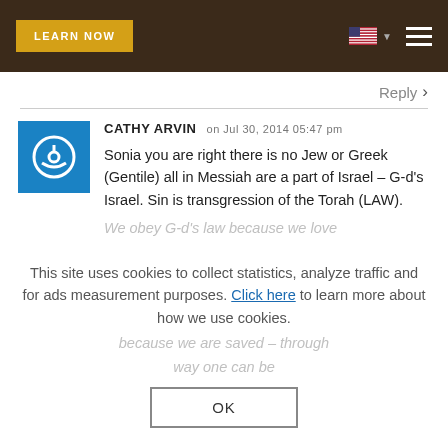LEARN NOW
Reply >
CATHY ARVIN on Jul 30, 2014 05:47 pm
Sonia you are right there is no Jew or Greek (Gentile) all in Messiah are a part of Israel – G-d's Israel. Sin is transgression of the Torah (LAW).
We obey G-d's law because we love
This site uses cookies to collect statistics, analyze traffic and for ads measurement purposes. Click here to learn more about how we use cookies.
because we are saved – through
way one can be
OK